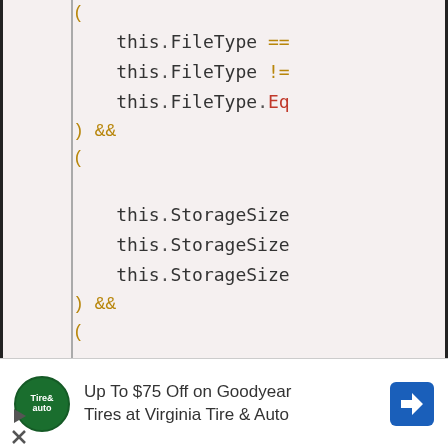[Figure (screenshot): Code editor screenshot showing a partial code block with conditions involving this.FileType (==, !=, .Eq), this.StorageSize (three references), and this.Extension (==, !=, .E), connected by && operators, with parentheses grouping. Background is light pink/beige.]
Advertisement: Up To $75 Off on Goodyear Tires at Virginia Tire & Auto